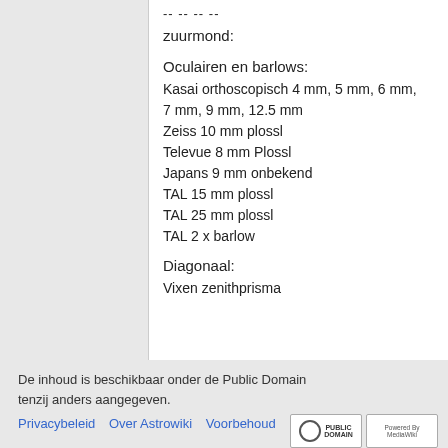-- -- -- --
zuurmond:
Oculairen en barlows:
Kasai orthoscopisch 4 mm, 5 mm, 6 mm, 7 mm, 9 mm, 12.5 mm
Zeiss 10 mm plossl
Televue 8 mm Plossl
Japans 9 mm onbekend
TAL 15 mm plossl
TAL 25 mm plossl
TAL 2 x barlow
Diagonaal:
Vixen zenithprisma
De inhoud is beschikbaar onder de Public Domain tenzij anders aangegeven.
Privacybeleid   Over Astrowiki   Voorbehoud